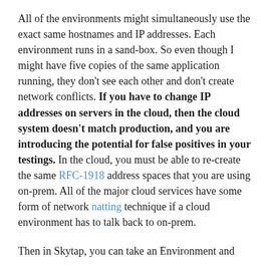All of the environments might simultaneously use the exact same hostnames and IP addresses. Each environment runs in a sand-box. So even though I might have five copies of the same application running, they don't see each other and don't create network conflicts. If you have to change IP addresses on servers in the cloud, then the cloud system doesn't match production, and you are introducing the potential for false positives in your testings. In the cloud, you must be able to re-create the same RFC-1918 address spaces that you are using on-prem. All of the major cloud services have some form of network natting technique if a cloud environment has to talk back to on-prem.
Then in Skytap, you can take an Environment and